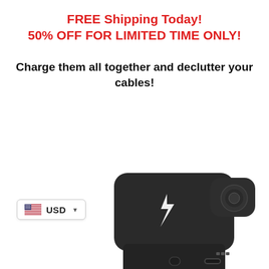FREE Shipping Today!
50% OFF FOR LIMITED TIME ONLY!
Charge them all together and declutter your cables!
[Figure (photo): Multi-device wireless charging station, dark gray/black color, showing wireless charging pad with lightning bolt symbol, watch charger, and USB-C port. Viewed from an angle.]
USD